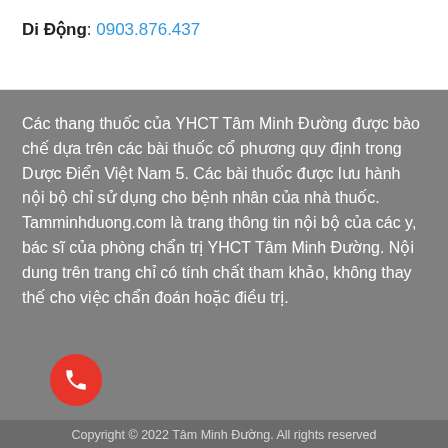Di Động: 0903.876.437
Các thang thuốc của YHCT Tâm Minh Đường được bào chế dựa trên các bài thuốc cổ phương quy định trong Dược Điển Việt Nam 5. Các bài thuốc được lưu hành nội bộ chỉ sử dụng cho bệnh nhân của nhà thuốc. Tamminhduong.com là trang thông tin nội bộ của các y, bác sĩ của phòng chẩn trị YHCT Tâm Minh Đường. Nội dung trên trang chỉ có tính chất tham khảo, không thay thế cho việc chẩn đoán hoặc điều trị.
[Figure (illustration): Red circular call/phone button with white phone icon]
Copyright © 2022 Tâm Minh Đường. All rights reserved